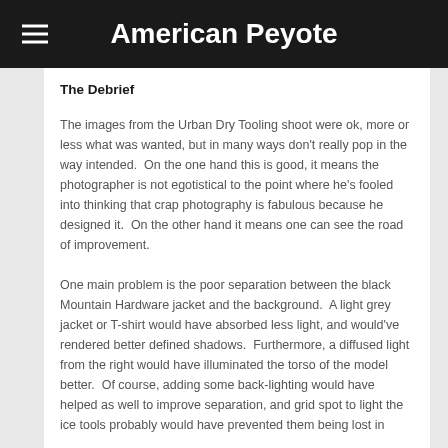American Peyote
The Debrief
The images from the Urban Dry Tooling shoot were ok, more or less what was wanted, but in many ways don't really pop in the way intended.  On the one hand this is good, it means the photographer is not egotistical to the point where he's fooled into thinking that crap photography is fabulous because he designed it.  On the other hand it means one can see the road of improvement.
One main problem is the poor separation between the black Mountain Hardware jacket and the background.  A light grey jacket or T-shirt would have absorbed less light, and would've rendered better defined shadows.  Furthermore, a diffused light from the right would have illuminated the torso of the model better.  Of course, adding some back-lighting would have helped as well to improve separation, and grid spot to light the ice tools probably would have prevented them being lost in the darkness of the background better still...